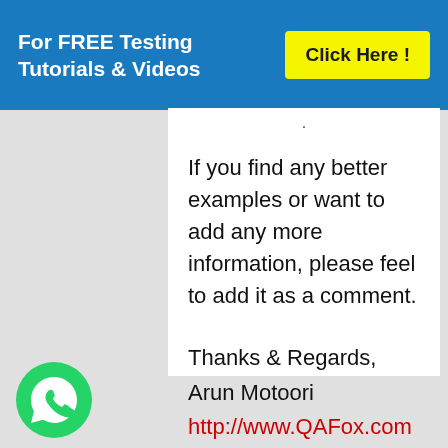For FREE Testing Tutorials & Videos   Click Here !
If you find any better examples or want to add any more information, please feel to add it as a comment.
Thanks & Regards,
Arun Motoori
http://www.QAFox.com
[Figure (illustration): WhatsApp phone icon in green circle at bottom left]